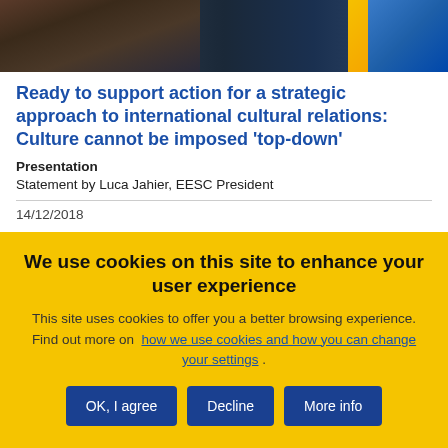[Figure (photo): Photo of a person (EESC President Luca Jahier) with flags in the background]
Ready to support action for a strategic approach to international cultural relations: Culture cannot be imposed 'top-down'
Presentation
Statement by Luca Jahier, EESC President
14/12/2018
We use cookies on this site to enhance your user experience
This site uses cookies to offer you a better browsing experience. Find out more on how we use cookies and how you can change your settings .